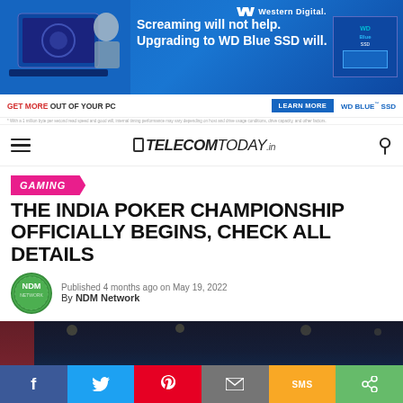[Figure (photo): Western Digital advertisement banner — blue background, person at laptop, WD Blue SSD product image, text: 'Screaming will not help. Upgrading to WD Blue SSD will.' with Western Digital logo]
GET MORE OUT OF YOUR PC    LEARN MORE    WD BLUE™ SSD
* With a 1 million byte per second read speed and good will, internal timing performance may vary depending on host and drive usage conditions, drive capacity, and other factors.
[Figure (logo): TelecomToday.in website navigation bar with hamburger menu, logo, and search icon]
GAMING
THE INDIA POKER CHAMPIONSHIP OFFICIALLY BEGINS, CHECK ALL DETAILS
Published 4 months ago on May 19, 2022
By NDM Network
[Figure (photo): Dark venue photo showing India Poker Championship event signage with red and dark blue stage setup]
[Figure (infographic): Social sharing bar with Facebook, Twitter, Pinterest, Email, SMS, and Share buttons]